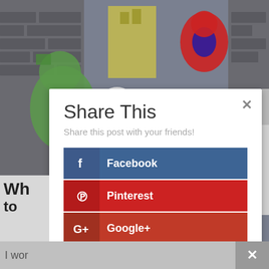[Figure (screenshot): Background showing superhero action figures (Hulk and Spider-Man) against a brick wall backdrop, partially obscured by a share dialog modal overlay]
Share This
Share this post with your friends!
Facebook
Pinterest
Google+
Twitter
Like
Wh to
I wor